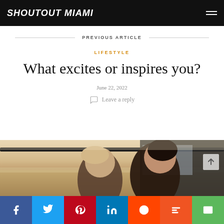SHOUTOUT MIAMI
PREVIOUS ARTICLE
LIFESTYLE
What excites or inspires you?
June 22, 2022
Leave a reply
[Figure (photo): Two people leaning out of a car window on a scenic road, warm outdoor lighting]
Facebook | Twitter | Pinterest | LinkedIn | Reddit | Mix | Email